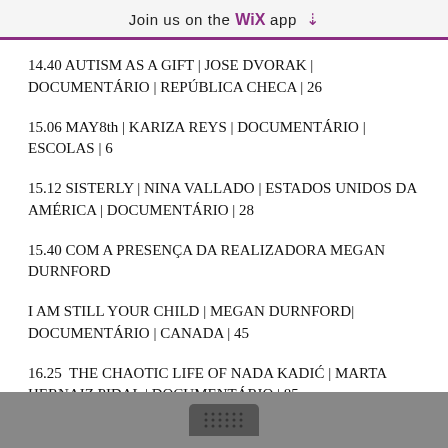Join us on the WiX app ⬇
14.40 AUTISM AS A GIFT | JOSE DVORAK | DOCUMENTÁRIO | REPÚBLICA CHECA | 26
15.06 MAY8th | KARIZA REYS | DOCUMENTÁRIO | ESCOLAS | 6
15.12 SISTERLY | NINA VALLADO | ESTADOS UNIDOS DA AMÉRICA | DOCUMENTÁRIO | 28
15.40 COM A PRESENÇA DA REALIZADORA MEGAN DURNFORD
I AM STILL YOUR CHILD | MEGAN DURNFORD| DOCUMENTÁRIO | CANADA | 45
16.25  THE CHAOTIC LIFE OF NADA KADIĆ | MARTA HERNAIZ PIDAL | DOCUMENTÁRIO | 85